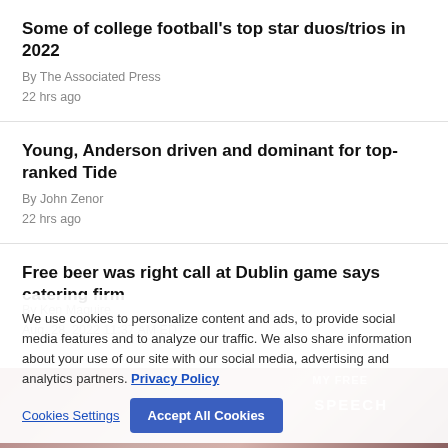Some of college football's top star duos/trios in 2022
By The Associated Press
22 hrs ago
Young, Anderson driven and dominant for top-ranked Tide
By John Zenor
22 hrs ago
Free beer was right call at Dublin game says catering firm
By Ken Maguire
Aug. 28, 2022 11:37 AM EDT
We use cookies to personalize content and ads, to provide social media features and to analyze our traffic. We also share information about your use of our site with our social media, advertising and analytics partners. Privacy Policy
Cookies Settings | Accept All Cookies